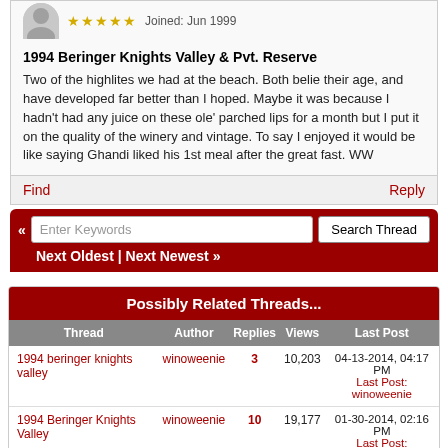1994 Beringer Knights Valley & Pvt. Reserve
Two of the highlites we had at the beach. Both belie their age, and have developed far better than I hoped. Maybe it was because I hadn't had any juice on these ole' parched lips for a month but I put it on the quality of the winery and vintage. To say I enjoyed it would be like saying Ghandi liked his 1st meal after the great fast. WW
Find | Reply
Enter Keywords | Search Thread
Next Oldest | Next Newest »
Possibly Related Threads...
| Thread | Author | Replies | Views | Last Post |
| --- | --- | --- | --- | --- |
| 1994 beringer knights valley | winoweenie | 3 | 10,203 | 04-13-2014, 04:17 PM Last Post: winoweenie |
| 1994 Beringer Knights Valley | winoweenie | 10 | 19,177 | 01-30-2014, 02:16 PM Last Post: winoweenie |